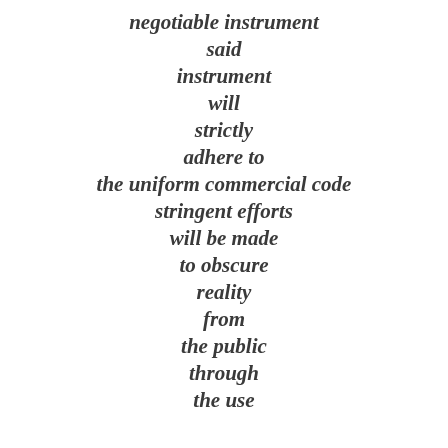negotiable instrument
said
instrument
will
strictly
adhere to
the uniform commercial code
stringent efforts
will be made
to obscure
reality
from
the public
through
the use